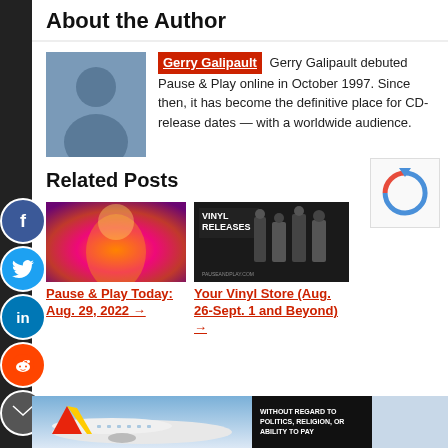About the Author
Gerry Galipault  Gerry Galipault debuted Pause & Play online in October 1997. Since then, it has become the definitive place for CD-release dates — with a worldwide audience.
Related Posts
[Figure (photo): Colorful psychedelic image of a person with warm red/yellow tones]
Pause & Play Today: Aug. 29, 2022 →
[Figure (photo): Black and white photo with text VINYL RELEASES and band members]
Your Vinyl Store (Aug. 26-Sept. 1 and Beyond) →
[Figure (photo): Airplane on tarmac with colorful tail livery]
WITHOUT REGARD TO POLITICS, RELIGION, OR ABILITY TO PAY